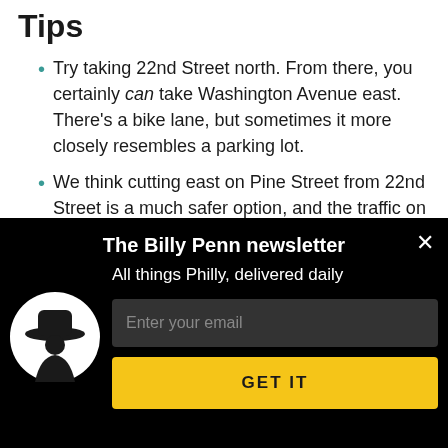Tips
Try taking 22nd Street north. From there, you certainly can take Washington Avenue east. There's a bike lane, but sometimes it more closely resembles a parking lot.
We think cutting east on Pine Street from 22nd Street is a much safer option, and the traffic on Pine Street can be easier to navigate than that on Washington
The Billy Penn newsletter
All things Philly, delivered daily
[Figure (logo): Billy Penn logo: white silhouette of a figure wearing a wide-brimmed hat inside a white circle on black background]
Enter your email
GET IT